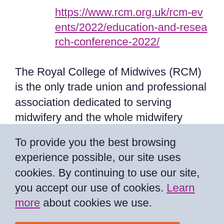https://www.rcm.org.uk/rcm-events/2022/education-and-research-conference-2022/
The Royal College of Midwives (RCM) is the only trade union and professional association dedicated to serving midwifery and the whole midwifery team. We provide workplace advice
To provide you the best browsing experience possible, our site uses cookies. By continuing to use our site, you accept our use of cookies. Learn more about cookies we use.
ACCEPT COOKIES